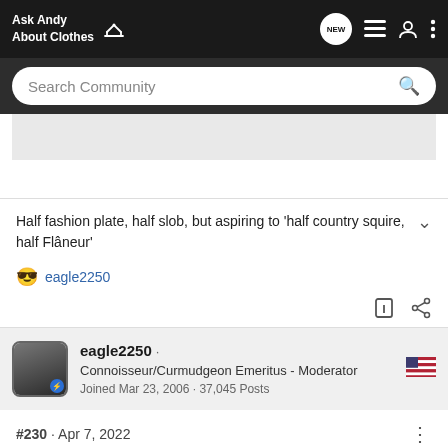Ask Andy About Clothes
Search Community
Half fashion plate, half slob, but aspiring to 'half country squire, half Flâneur'
😎 eagle2250
eagle2250 · Connoisseur/Curmudgeon Emeritus - Moderator
Joined Mar 23, 2006 · 37,045 Posts
#230 · Apr 7, 2022